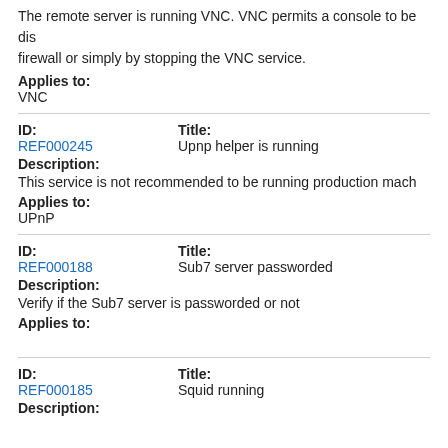The remote server is running VNC. VNC permits a console to be dis firewall or simply by stopping the VNC service.
Applies to:
VNC
ID: REF000245  Title: Upnp helper is running
Description:
This service is not recommended to be running production mach
Applies to:
UPnP
ID: REF000188  Title: Sub7 server passworded
Description:
Verify if the Sub7 server is passworded or not
Applies to:
ID: REF000185  Title: Squid running
Description: